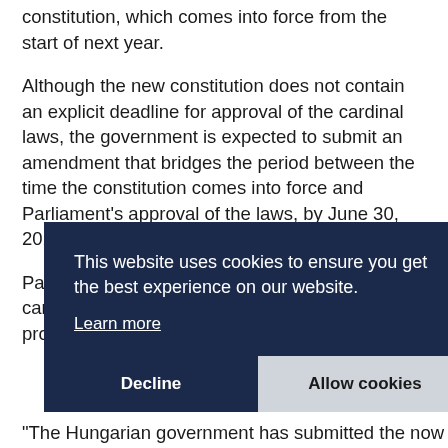constitution, which comes into force from the start of next year.
Although the new constitution does not contain an explicit deadline for approval of the cardinal laws, the government is expected to submit an amendment that bridges the period between the time the constitution comes into force and Parliament's approval of the laws, by June 30, 2012, MTI learnt.
Parliament is expected to approve this year cardinal laws on financial stability, on the protection of state a... a... th...
R... C... H... o...
"The Hungarian government has submitted the now
[Figure (other): Cookie consent overlay banner with dark navy background. Text reads: 'This website uses cookies to ensure you get the best experience on our website.' with 'Learn more' link, and two buttons: 'Decline' and 'Allow cookies'.]